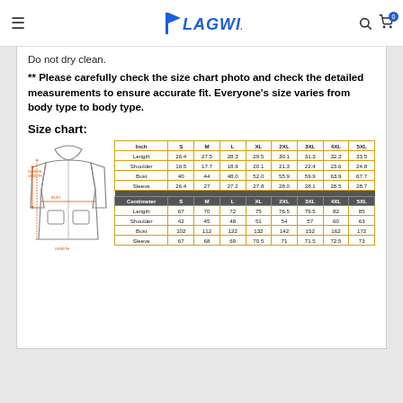FLAGWIX
Do not dry clean.
** Please carefully check the size chart photo and check the detailed measurements to ensure accurate fit. Everyone's size varies from body type to body type.
Size chart:
[Figure (illustration): Line drawing of a zip-up hoodie jacket with measurement arrows indicating sleeve length, bust, and length dimensions]
| Inch | S | M | L | XL | 2XL | 3XL | 4XL | 5XL |
| --- | --- | --- | --- | --- | --- | --- | --- | --- |
| Length | 26.4 | 27.5 | 28.3 | 29.5 | 30.1 | 31.3 | 32.3 | 33.5 |
| Shoulder | 16.5 | 17.7 | 18.9 | 20.1 | 21.3 | 22.4 | 23.6 | 24.8 |
| Bust | 40 | 44 | 48.0 | 52.0 | 55.9 | 59.9 | 63.9 | 67.7 |
| Sleeve | 26.4 | 27 | 27.2 | 27.8 | 28.0 | 28.1 | 28.5 | 28.7 |
| Centimeter | S | M | L | XL | 2XL | 3XL | 4XL | 5XL |
| Length | 67 | 70 | 72 | 75 | 76.5 | 79.5 | 82 | 85 |
| Shoulder | 42 | 45 | 48 | 51 | 54 | 57 | 60 | 63 |
| Bust | 102 | 112 | 122 | 132 | 142 | 152 | 162 | 172 |
| Sleeve | 67 | 68 | 69 | 70.5 | 71 | 71.5 | 72.5 | 73 |